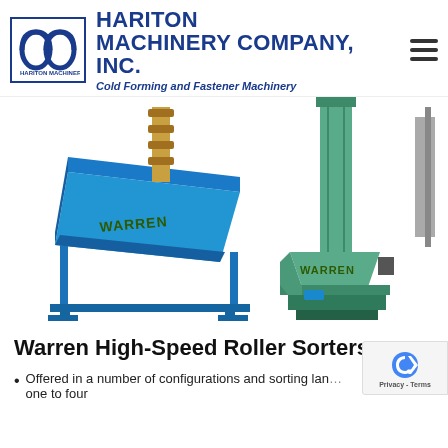[Figure (logo): Hariton Machinery Company Inc. logo with stylized H/M letterform in dark blue, company name HARITON MACHINERY COMPANY, INC. in bold navy, tagline Cold Forming and Fastener Machinery in italic navy, and hamburger menu icon on right]
[Figure (photo): Two industrial machines: left is a blue Warren high-speed roller sorter with tilted hopper on a steel frame stand; right is a green/teal Warren elevator/sorter with vertical conveyor tower and base hopper, both branded WARREN]
Warren High-Speed Roller Sorters
Offered in a number of configurations and sorting lan… one to four